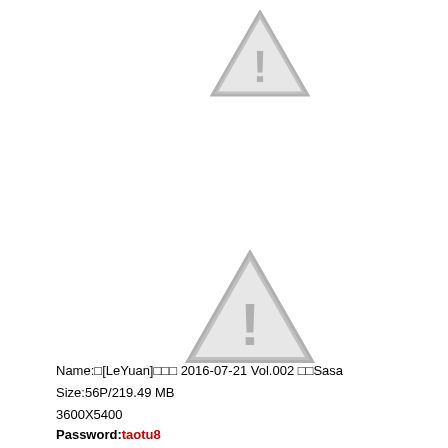[Figure (illustration): Gray warning triangle icon with exclamation mark, smaller size at top]
[Figure (illustration): Gray warning triangle icon with exclamation mark, larger size in middle]
Name:□[LeYuan]□□□ 2016-07-21 Vol.002 □□Sasa
Size:56P/219.49 MB
3600X5400
Password:taotu8